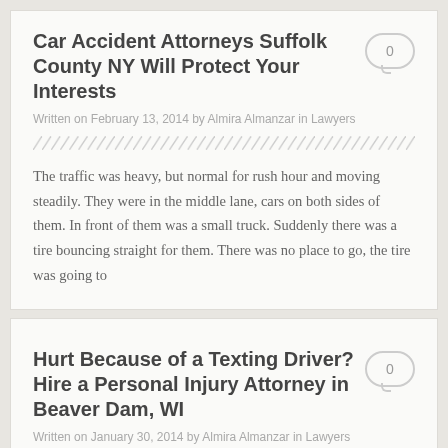Car Accident Attorneys Suffolk County NY Will Protect Your Interests
Written on February 13, 2014 by Almira Almanzar in Lawyers
The traffic was heavy, but normal for rush hour and moving steadily. They were in the middle lane, cars on both sides of them. In front of them was a small truck. Suddenly there was a tire bouncing straight for them. There was no place to go, the tire was going to
Hurt Because of a Texting Driver? Hire a Personal Injury Attorney in Beaver Dam, WI
Written on January 30, 2014 by Almira Almanzar in Lawyers